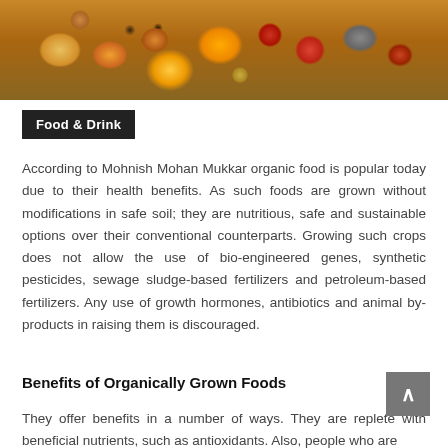[Figure (photo): A colorful spread of organic foods including fruits, vegetables, seeds, grains in bowls and scattered: oranges, peaches, papaya, peppercorns, grains, dried fruits, and various produce viewed from above.]
Food & Drink
According to Mohnish Mohan Mukkar organic food is popular today due to their health benefits. As such foods are grown without modifications in safe soil; they are nutritious, safe and sustainable options over their conventional counterparts. Growing such crops does not allow the use of bio-engineered genes, synthetic pesticides, sewage sludge-based fertilizers and petroleum-based fertilizers. Any use of growth hormones, antibiotics and animal by-products in raising them is discouraged.
Benefits of Organically Grown Foods
They offer benefits in a number of ways. They are replete with beneficial nutrients, such as antioxidants. Also, people who are